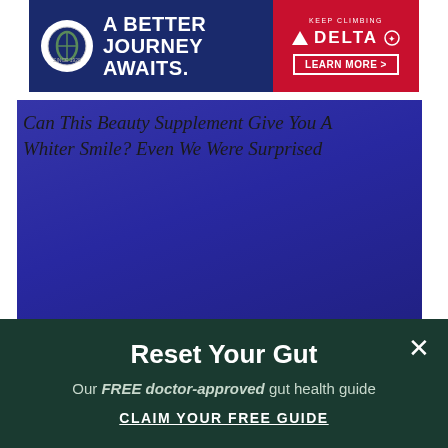[Figure (screenshot): Delta Airlines advertisement banner: dark navy background with circular logo on left, text 'A BETTER JOURNEY AWAITS.' in white bold, red panel on right with 'KEEP CLIMBING', Delta triangle logo, 'DELTA' text, and 'LEARN MORE >' button]
[Figure (screenshot): Large blue/indigo rectangle representing a broken image placeholder. Alt text reads: 'Can This Beauty Supplement Give You A Whiter Smile? Even We Were Surprised']
Reset Your Gut
Our FREE doctor-approved gut health guide
CLAIM YOUR FREE GUIDE